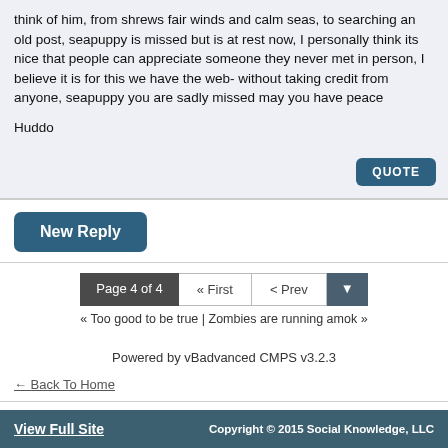think of him, from shrews fair winds and calm seas, to searching an old post, seapuppy is missed but is at rest now, I personally think its nice that people can appreciate someone they never met in person, I believe it is for this we have the web- without taking credit from anyone, seapuppy you are sadly missed may you have peace

Huddo
QUOTE
New Reply
Page 4 of 4   « First   < Prev   ▼
« Too good to be true | Zombies are running amok »
Powered by vBadvanced CMPS v3.2.3
← Back To Home
View Full Site    Copyright © 2015 Social Knowledge, LLC